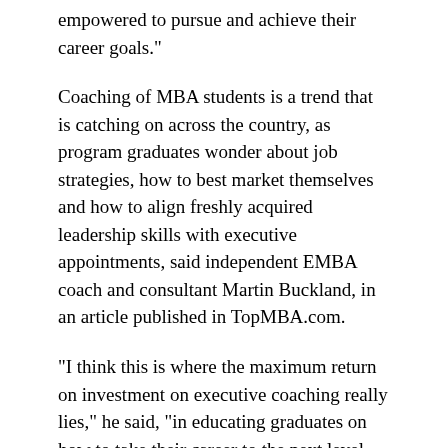empowered to pursue and achieve their career goals."
Coaching of MBA students is a trend that is catching on across the country, as program graduates wonder about job strategies, how to best market themselves and how to align freshly acquired leadership skills with executive appointments, said independent EMBA coach and consultant Martin Buckland, in an article published in TopMBA.com.
"I think this is where the maximum return on investment on executive coaching really lies," he said, "in educating graduates on how to take their career to the next level, climb that ladder of success and ultimately, reap the rewards of an EMBA designation."
Artis said the addition of an MBA coach will elevate